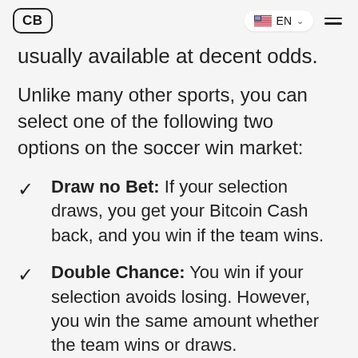CB | EN
usually available at decent odds.
Unlike many other sports, you can select one of the following two options on the soccer win market:
Draw no Bet: If your selection draws, you get your Bitcoin Cash back, and you win if the team wins.
Double Chance: You win if your selection avoids losing. However, you win the same amount whether the team wins or draws.